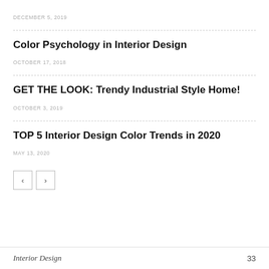DECEMBER 5, 2019
Color Psychology in Interior Design
OCTOBER 17, 2018
GET THE LOOK: Trendy Industrial Style Home!
OCTOBER 3, 2019
TOP 5 Interior Design Color Trends in 2020
MAY 13, 2020
Interior Design    33